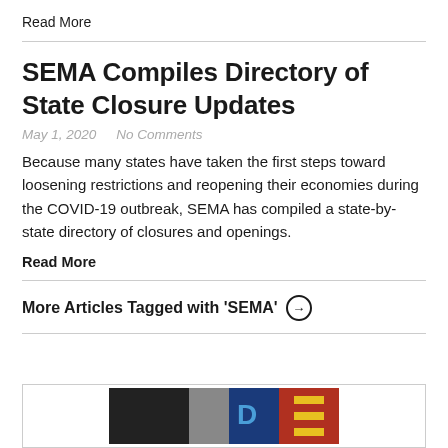Read More
SEMA Compiles Directory of State Closure Updates
May 1, 2020   No Comments
Because many states have taken the first steps toward loosening restrictions and reopening their economies during the COVID-19 outbreak, SEMA has compiled a state-by-state directory of closures and openings.
Read More
More Articles Tagged with 'SEMA' ⊙
[Figure (photo): Partial image of a colorful sign or storefront visible at the bottom of the page]